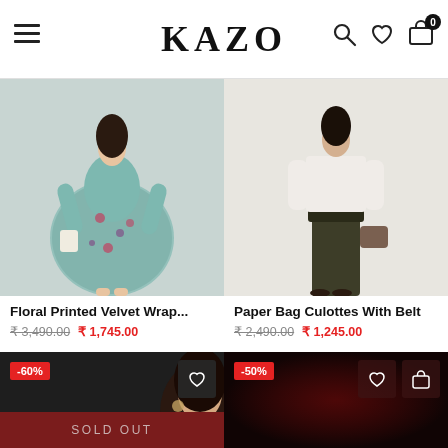KAZO
[Figure (photo): Woman wearing floral printed velvet wrap dress, light teal/blue with floral pattern, long sleeves, short flared skirt, holding white bag]
[Figure (photo): Woman wearing paper bag culottes with belt in dark olive/khaki, white long sleeve top, holding handbag]
Floral Printed Velvet Wrap...
Paper Bag Culottes With Belt
₹ 3,490.00  ₹ 1,745.00
₹ 2,490.00  ₹ 1,245.00
[Figure (photo): Woman with curly hair, -60% badge, SOLD OUT overlay]
[Figure (photo): Dark red background product photo, -50% badge]